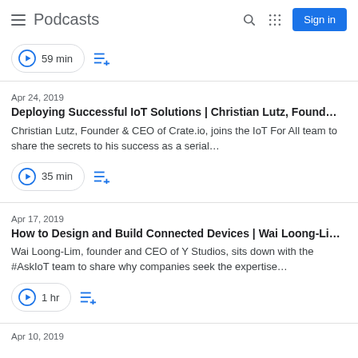Podcasts
59 min
Apr 24, 2019
Deploying Successful IoT Solutions | Christian Lutz, Found…
Christian Lutz, Founder & CEO of Crate.io, joins the IoT For All team to share the secrets to his success as a serial…
35 min
Apr 17, 2019
How to Design and Build Connected Devices | Wai Loong-Li…
Wai Loong-Lim, founder and CEO of Y Studios, sits down with the #AskIoT team to share why companies seek the expertise…
1 hr
Apr 10, 2019